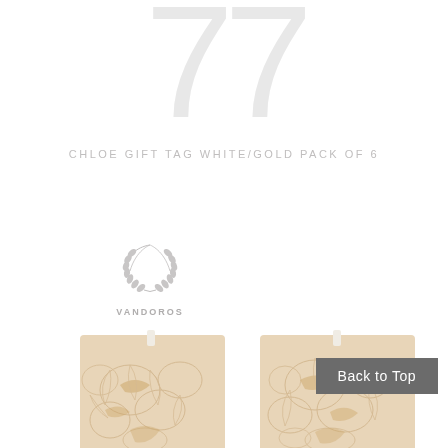77
CHLOE GIFT TAG WHITE/GOLD PACK OF 6
[Figure (logo): Vandoros brand logo: a laurel wreath emblem above the text VANDOROS]
[Figure (photo): Two gift tags side by side with a cream/gold floral pattern featuring birds and flowers, each with a white ribbon at the top]
Back to Top